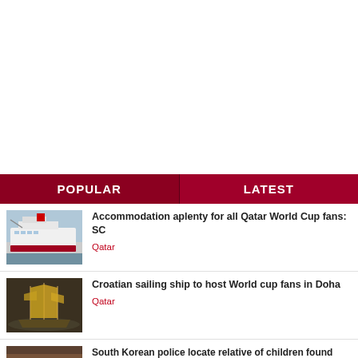POPULAR
LATEST
[Figure (photo): Cruise ship docked at port]
Accommodation aplenty for all Qatar World Cup fans: SC
Qatar
[Figure (photo): Croatian sailing ship with multiple masts and golden sails on water]
Croatian sailing ship to host World cup fans in Doha
Qatar
[Figure (photo): Partial image - South Korean police story]
South Korean police locate relative of children found dead in